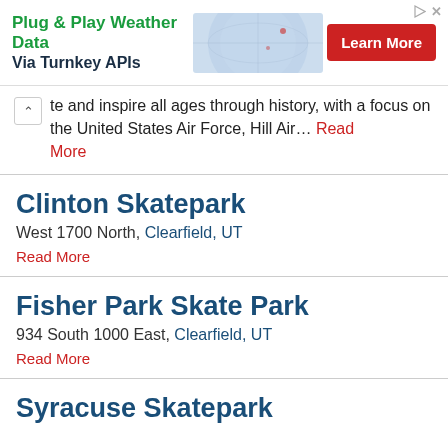[Figure (other): Advertisement banner: 'Plug & Play Weather Data Via Turnkey APIs' with a red 'Learn More' button and a globe/weather graphic on the right. Small play and X icons in top-right corner.]
te and inspire all ages through history, with a focus on the United States Air Force, Hill Air… Read More
Clinton Skatepark
West 1700 North, Clearfield, UT
Read More
Fisher Park Skate Park
934 South 1000 East, Clearfield, UT
Read More
Syracuse Skatepark